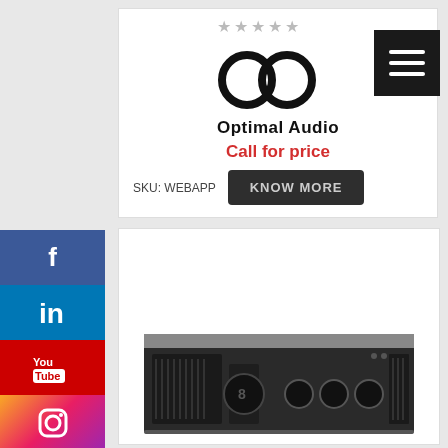[Figure (logo): Optimal Audio logo with 4 grey stars above two interlocking circles and text 'Optimal Audio']
Call for price
SKU: WEBAPP
[Figure (other): KNOW MORE dark button]
[Figure (photo): Product photo of a rack-mount audio power amplifier, black with front panel controls and ventilation grilles]
[Figure (other): Social media sidebar with Facebook, LinkedIn, YouTube, and Instagram icons]